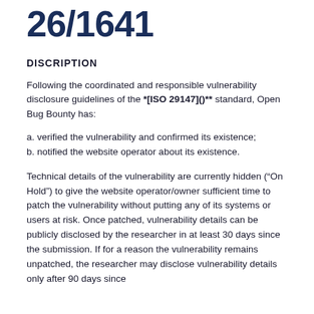26/1641
DISCRIPTION
Following the coordinated and responsible vulnerability disclosure guidelines of the **[ISO 29147]()** standard, Open Bug Bounty has:
a. verified the vulnerability and confirmed its existence;
b. notified the website operator about its existence.
Technical details of the vulnerability are currently hidden (“On Hold”) to give the website operator/owner sufficient time to patch the vulnerability without putting any of its systems or users at risk. Once patched, vulnerability details can be publicly disclosed by the researcher in at least 30 days since the submission. If for a reason the vulnerability remains unpatched, the researcher may disclose vulnerability details only after 90 days since